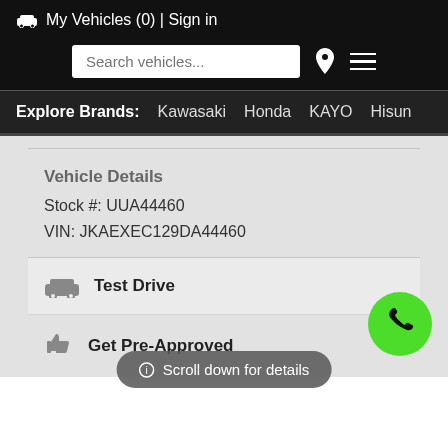🚗 My Vehicles (0) | Sign in
Search vehicles...
Explore Brands: Kawasaki  Honda  KAYO  Hisun
Vehicle Details
Stock #: UUA44460
VIN: JKAEXEC129DA44460
Test Drive
Scroll down for details
Get Pre-Approved